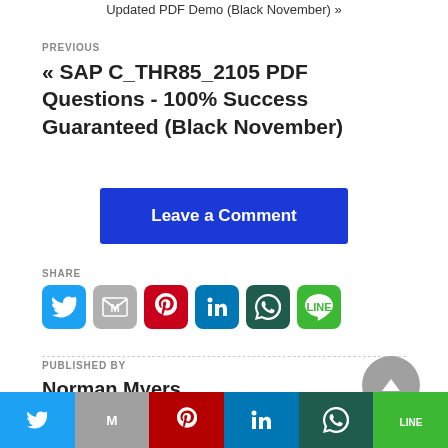Updated PDF Demo (Black November) »
PREVIOUS
« SAP C_THR85_2105 PDF Questions - 100% Success Guaranteed (Black November)
Leave a Comment
SHARE
[Figure (infographic): Social share icons: Twitter (blue), Gmail (grey), Pinterest (red), LinkedIn (blue), WhatsApp (dark green), LINE (green)]
PUBLISHED BY
Norman Myers
[Figure (infographic): Bottom social share bar with Twitter, Gmail, Pinterest, LinkedIn, WhatsApp, LINE icons]